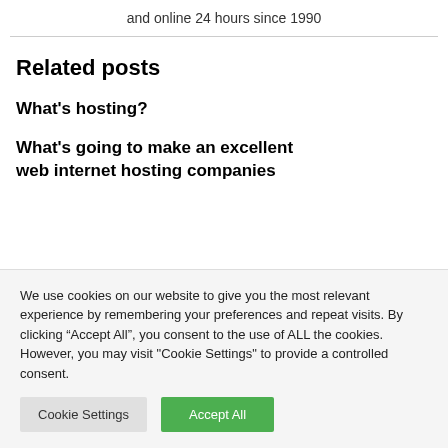and online 24 hours since 1990
Related posts
What's hosting?
What's going to make an excellent web internet hosting companies
We use cookies on our website to give you the most relevant experience by remembering your preferences and repeat visits. By clicking “Accept All”, you consent to the use of ALL the cookies. However, you may visit "Cookie Settings" to provide a controlled consent.
Cookie Settings   Accept All